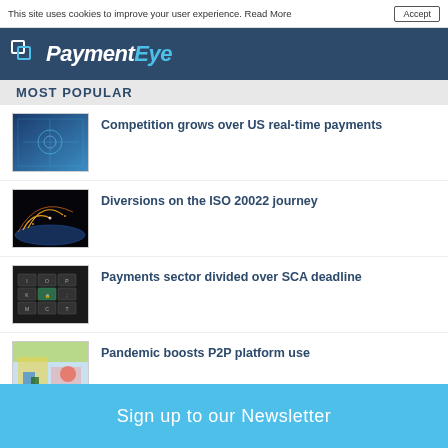This site uses cookies to improve your user experience. Read More
PaymentEye
MOST POPULAR
Competition grows over US real-time payments
Diversions on the ISO 20022 journey
Payments sector divided over SCA deadline
Pandemic boosts P2P platform use
Sign up to our Newsletter